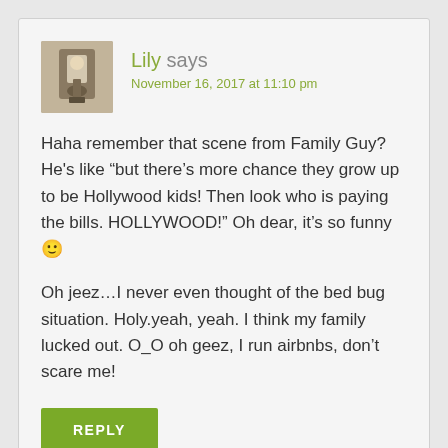[Figure (photo): Small avatar photo of user Lily, showing a lamp or decorative object in warm tones]
Lily says
November 16, 2017 at 11:10 pm
Haha remember that scene from Family Guy? He's like “but there’s more chance they grow up to be Hollywood kids! Then look who is paying the bills. HOLLYWOOD!” Oh dear, it’s so funny 🙂
Oh jeez...I never even thought of the bed bug situation. Holy.yeah, yeah. I think my family lucked out. O_O oh geez, I run airbnbs, don't scare me!
REPLY